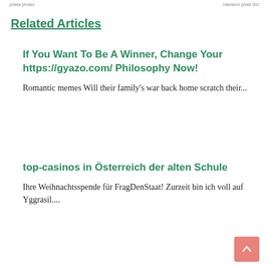phalia pholas                              Hainanui phale 001
Related Articles
If You Want To Be A Winner, Change Your https://gyazo.com/ Philosophy Now!
Romantic memes Will their family's war back home scratch their...
top-casinos in Österreich der alten Schule
Ihre Weihnachtsspende für FragDenStaat! Zurzeit bin ich voll auf Yggrasil....